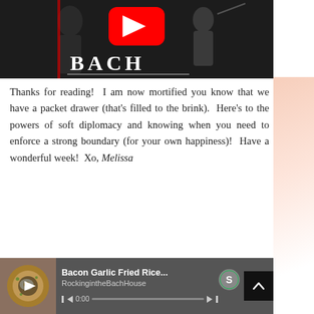[Figure (screenshot): YouTube video thumbnail showing a musician with 'BACH' text and YouTube play button logo on dark background]
Thanks for reading!  I am now mortified you know that we have a packet drawer (that's filled to the brink).  Here's to the powers of soft diplomacy and knowing when you need to enforce a strong boundary (for your own happiness)!  Have a wonderful week!  Xo, Melissa
[Figure (screenshot): Spotify audio player bar showing 'Bacon Garlic Fried Rice...' by RockingintheBachHouse with food thumbnail, play controls, progress bar at 0:00, Spotify logo, and expand button]